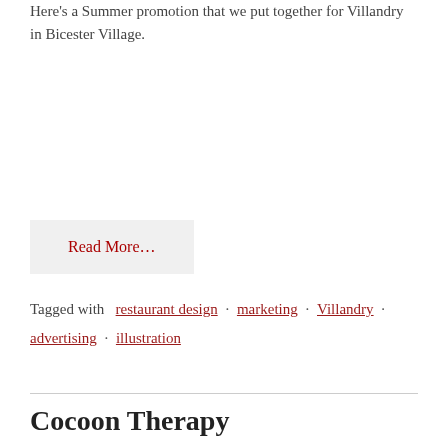Here's a Summer promotion that we put together for Villandry in Bicester Village.
Read More…
Tagged with  restaurant design · marketing · Villandry · advertising · illustration
Cocoon Therapy